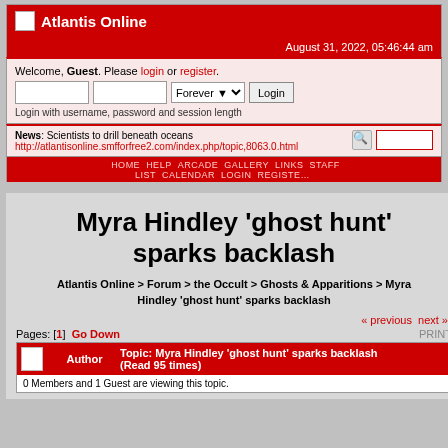Atlantis Online
August 31, 2022, 05:46:44 am
Welcome, Guest. Please login or register.
Login with username, password and session length
News: Scientists to drill beneath oceans http://atlantisonline.smfforfree2.com/index.php/topic,8063.0.html
HOME HELP ARCADE GALLERY LINKS STAFF LIST CALENDAR LOGIN REGISTER
Myra Hindley 'ghost hunt' sparks backlash
Atlantis Online > Forum > the Occult > Ghosts & Apparitions > Myra Hindley 'ghost hunt' sparks backlash
« previous next »
Pages: [1]  Go Down
PRINT
|  | Author | Topic: Myra Hindley 'ghost hunt' sparks backlash (Read 95 times) |
| --- | --- | --- |
| 0 Members and 1 Guest are viewing this topic. |